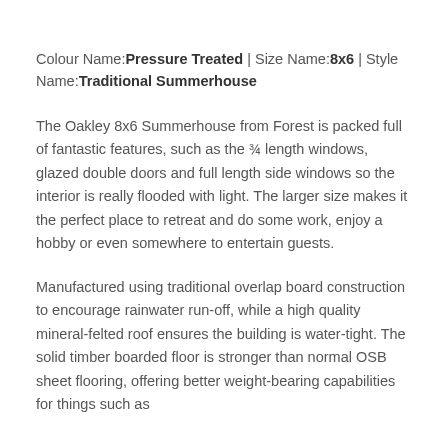Colour Name:Pressure Treated | Size Name:8x6 | Style Name:Traditional Summerhouse
The Oakley 8x6 Summerhouse from Forest is packed full of fantastic features, such as the ¾ length windows, glazed double doors and full length side windows so the interior is really flooded with light. The larger size makes it the perfect place to retreat and do some work, enjoy a hobby or even somewhere to entertain guests.
Manufactured using traditional overlap board construction to encourage rainwater run-off, while a high quality mineral-felted roof ensures the building is water-tight. The solid timber boarded floor is stronger than normal OSB sheet flooring, offering better weight-bearing capabilities for things such as